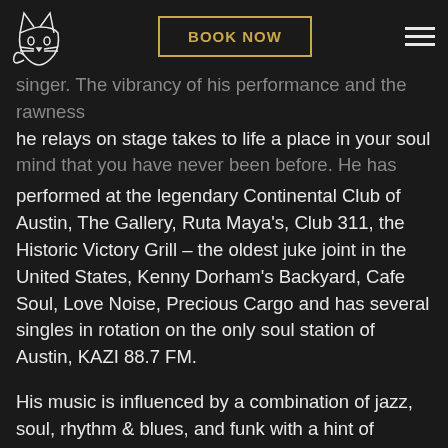[Logo] BOOK NOW [Menu]
he relays on stage takes to life a place in your soul mind that you have never been before. He has performed at the legendary Continental Club of Austin, The Gallery, Ruta Maya's, Club 311, the Historic Victory Grill – the oldest juke joint in the United States, Kenny Dorham's Backyard, Cafe Soul, Love Noise, Precious Cargo and has several singles in rotation on the only soul station of Austin, KAZI 88.7 FM.
His music is influenced by a combination of jazz, soul, rhythm & blues, and funk with a hint of alternative rock. James has worked with Free Sol (Tennman Records, Justin Timberlake's indie label), opened for Dwele (an international neo-soul singer), Steve McKie ( producer for Jill Scott, John Legend, Bilal, Estelle, Kindred Family Soul, Common, Leela James, Musiq Soulchild), Johnathen Rychmond (producer for Angie Stone,